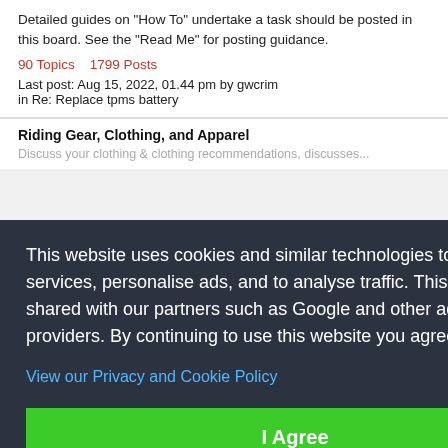Detailed guides on "How To" undertake a task should be posted in this board. See the "Read Me" for posting guidance.
90 Topics   1799 Posts
Last post: Aug 15, 2022, 01.44 pm by gwcrim
in Re: Replace tpms battery
Riding Gear, Clothing, and Apparel
Discuss your clothing & clothing recommendations, discuss...
This website uses cookies and similar technologies to deliver services, personalise ads, and to analyse traffic. This data is shared with our partners such as Google and other ad technology providers. By continuing to use this website you agree to this.
View our Privacy and Cookie Policy
I Agree
Powerbronze
Products from a Trade forum Powerbronze